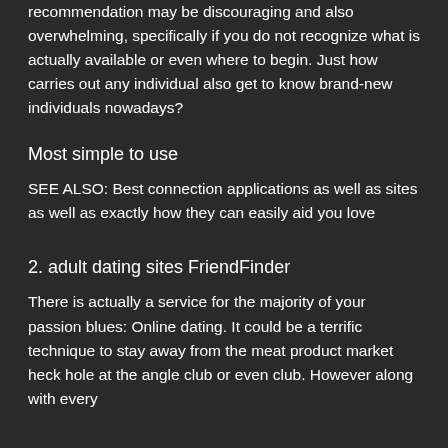recommendation may be discouraging and also overwhelming, specifically if you do not recognize what is actually available or even where to begin. Just how carries out any individual also get to know brand-new individuals nowadays?
Most simple to use
SEE ALSO: Best connection applications as well as sites as well as exactly how they can easily aid you love
2. adult dating sites FriendFinder
There is actually a service for the majority of your passion blues: Online dating. It could be a terrific technique to stay away from the meat product market heck hole at the angle club or even club. However along with every